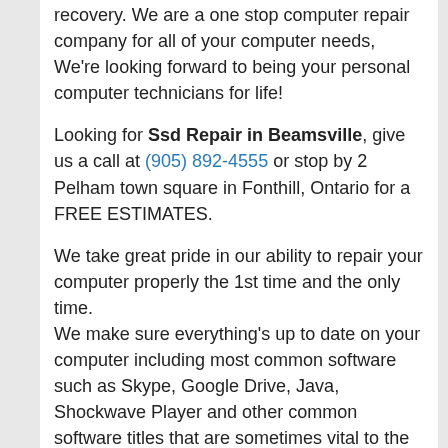recovery. We are a one stop computer repair company for all of your computer needs, We're looking forward to being your personal computer technicians for life!
Looking for Ssd Repair in Beamsville, give us a call at (905) 892-4555 or stop by 2 Pelham town square in Fonthill, Ontario for a FREE ESTIMATES.
We take great pride in our ability to repair your computer properly the 1st time and the only time.
We make sure everything's up to date on your computer including most common software such as Skype, Google Drive, Java, Shockwave Player and other common software titles that are sometimes vital to the computer's security and functionality.
We repair the most common issues such as screens, keyboards, laptop jack, hinges and other various parts of the computer like motherboard repair.
We offer our service at affordable prices topped with legendary turn-around times – JTG Systems can't be beat! We